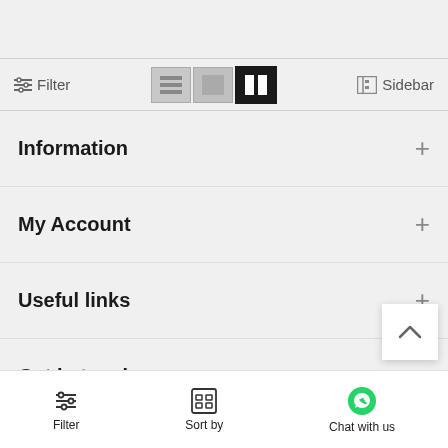Filter | view icons | Sidebar
Information +
My Account +
Useful links +
Get in touch +
Filter | Sort by | Chat with us